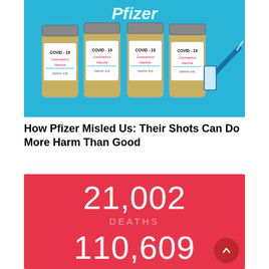[Figure (photo): Four COVID-19 Coronavirus Vaccine vials labeled 'COVID-19 Coronavirus Vaccine Injection only' on a blue background with a syringe, and the Pfizer logo visible at the top.]
How Pfizer Misled Us: Their Shots Can Do More Harm Than Good
[Figure (infographic): Red infographic showing '21,002 DEATHS' and '110,609' on a red/coral background.]